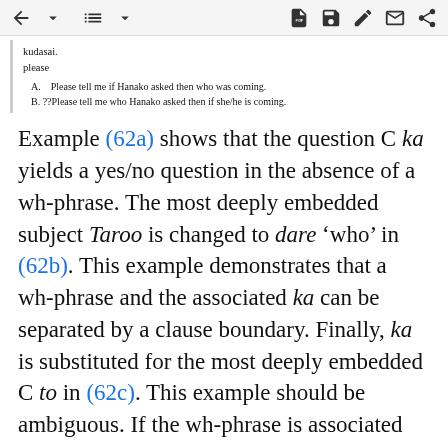toolbar with navigation and action icons
kudasai.
please
A. Please tell me if Hanako asked then who was coming.
B. ??Please tell me who Hanako asked then if she/he is coming.
Example (62a) shows that the question C ka yields a yes/no question in the absence of a wh-phrase. The most deeply embedded subject Taroo is changed to dare 'who' in (62b). This example demonstrates that a wh-phrase and the associated ka can be separated by a clause boundary. Finally, ka is substituted for the most deeply embedded C to in (62c). This example should be ambiguous. If the wh-phrase is associated with the lower ka, it should have the interpretation in A, which is indeed possible. On the other hand, if it is associated with the higher ka, the lower ka should be interpreted as